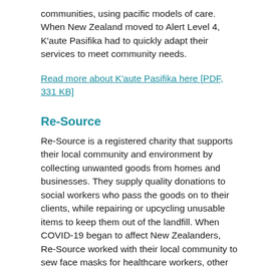communities, using pacific models of care. When New Zealand moved to Alert Level 4, K'aute Pasifika had to quickly adapt their services to meet community needs.
Read more about K'aute Pasifika here [PDF, 331 KB]
Re-Source
Re-Source is a registered charity that supports their local community and environment by collecting unwanted goods from homes and businesses. They supply quality donations to social workers who pass the goods on to their clients, while repairing or upcycling unusable items to keep them out of the landfill. When COVID-19 began to affect New Zealanders, Re-Source worked with their local community to sew face masks for healthcare workers, other support workers and homeless people.
Read more about Re-Source here [PDF, 327 KB]
Voice of Aroha
Voice of Aroha is a radio show that airs fortnightly on Access Radio. It was established by a group of former